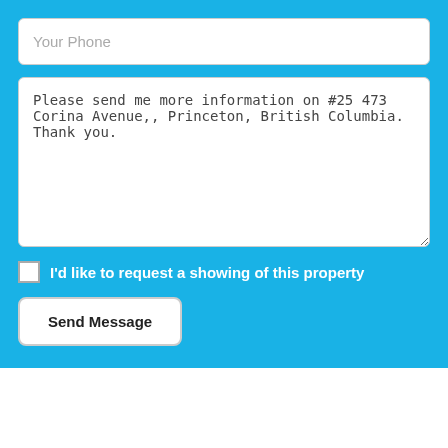Your Phone
Please send me more information on #25 473 Corina Avenue,, Princeton, British Columbia. Thank you.
I'd like to request a showing of this property
Send Message
By using our site, you agree to our Terms of Use and Privacy Policy
Dismiss